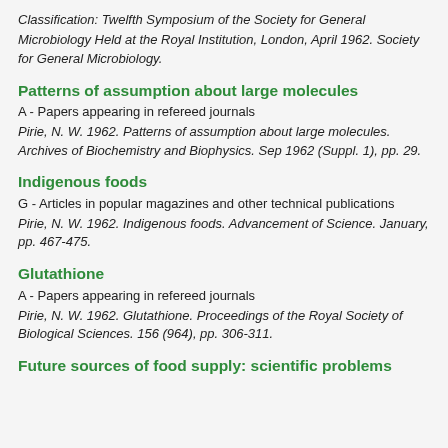Classification: Twelfth Symposium of the Society for General Microbiology Held at the Royal Institution, London, April 1962. Society for General Microbiology.
Patterns of assumption about large molecules
A - Papers appearing in refereed journals
Pirie, N. W. 1962. Patterns of assumption about large molecules. Archives of Biochemistry and Biophysics. Sep 1962 (Suppl. 1), pp. 29.
Indigenous foods
G - Articles in popular magazines and other technical publications
Pirie, N. W. 1962. Indigenous foods. Advancement of Science. January, pp. 467-475.
Glutathione
A - Papers appearing in refereed journals
Pirie, N. W. 1962. Glutathione. Proceedings of the Royal Society of Biological Sciences. 156 (964), pp. 306-311.
Future sources of food supply: scientific problems